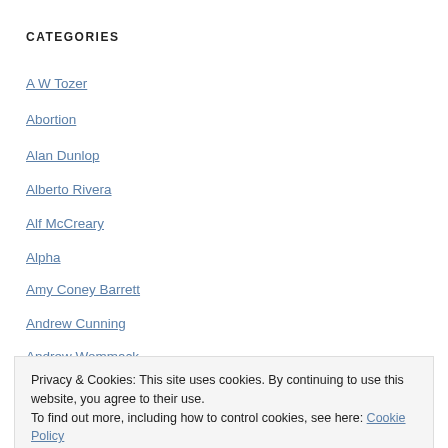CATEGORIES
A W Tozer
Abortion
Alan Dunlop
Alberto Rivera
Alf McCreary
Alpha
Amy Coney Barrett
Andrew Cunning
Andrew Wommack
Privacy & Cookies: This site uses cookies. By continuing to use this website, you agree to their use.
To find out more, including how to control cookies, see here: Cookie Policy
Bahaism